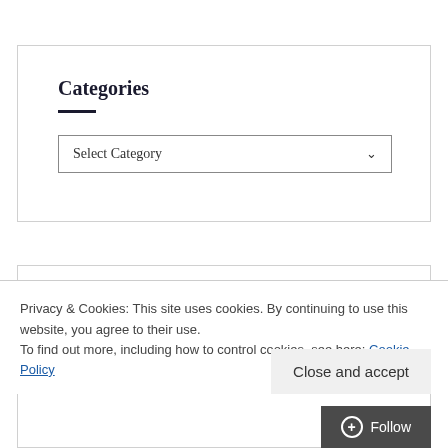Categories
[Figure (screenshot): Dropdown widget labeled 'Select Category' with a chevron arrow on the right, inside a bordered widget box]
Archives
Privacy & Cookies: This site uses cookies. By continuing to use this website, you agree to their use.
To find out more, including how to control cookies, see here: Cookie Policy
Close and accept
+ Follow